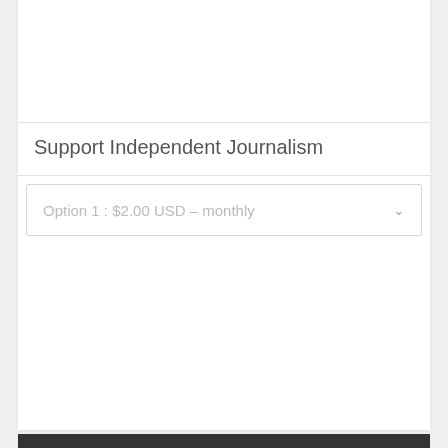Support Independent Journalism
Option 1 : $2.00 USD – monthly
[Figure (screenshot): PayPal Subscribe button with credit card icons (Visa, Mastercard, PayPal, American Express, Discover)]